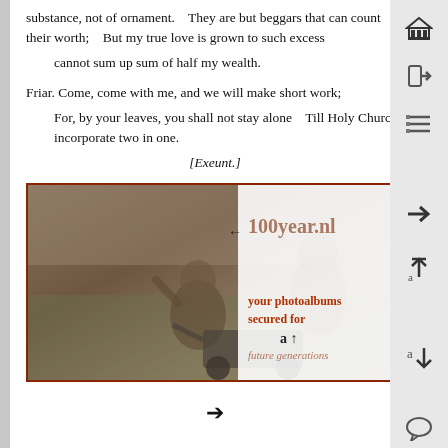substance, not of ornament.    They are but beggars that can count their worth;    But my true love is grown to such excess    cannot sum up sum of half my wealth.
Friar. Come, come with me, and we will make short work;    For, by your leaves, you shall not stay alone    Till Holy Church incorporate two in one.
[Exeunt.]
[Figure (photo): Sepia-toned vintage photograph of two young children outdoors on grass. A toddler girl is waving and smiling, and an older boy is pushing a toy wagon/cart. The image has a watermark '100year.nl' and text 'your photoalbums secured for future generations' overlaid in dark red/orange on the right side.]